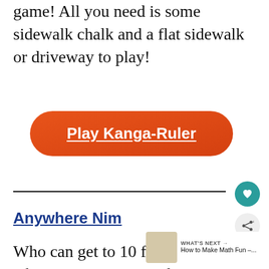game! All you need is some sidewalk chalk and a flat sidewalk or driveway to play!
[Figure (other): Orange rounded-rectangle button with white bold underlined text reading 'Play Kanga-Ruler']
[Figure (other): Horizontal divider line with teal heart icon button on the right and a share icon button below it]
Anywhere Nim
Who can get to 10 first? Players take turns counting up by 1s or 2s and the
[Figure (other): WHAT'S NEXT → How to Make Math Fun –... thumbnail with book image]